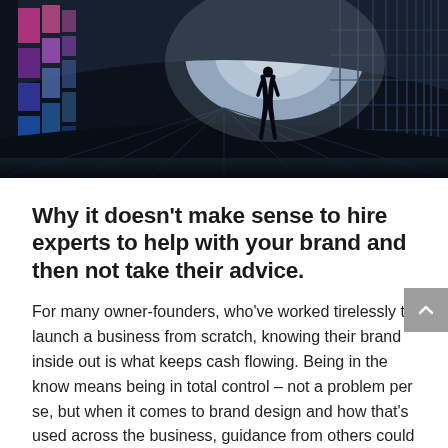[Figure (photo): A silhouette of a person walking through a futuristic curved tunnel corridor with colorful illuminated panels on the left side (pink, purple, blue) and structural grid panels on the right, creating a vanishing-point perspective. Cool blue-tinted lighting.]
Why it doesn't make sense to hire experts to help with your brand and then not take their advice.
For many owner-founders, who've worked tirelessly to launch a business from scratch, knowing their brand inside out is what keeps cash flowing. Being in the know means being in total control – not a problem per se, but when it comes to brand design and how that's used across the business, guidance from others could be the advice you can't